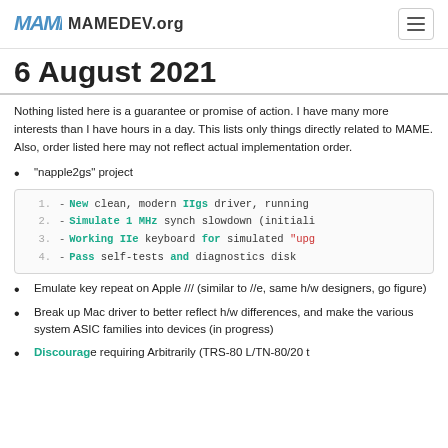MAME MAMEDEV.org
6 August 2021
Nothing listed here is a guarantee or promise of action. I have many more interests than I have hours in a day. This lists only things directly related to MAME. Also, order listed here may not reflect actual implementation order.
"napple2gs" project
[Figure (screenshot): Code block showing 4 numbered list items with colored keywords: 1. - New clean, modern IIgs driver, running  2. - Simulate 1 MHz synch slowdown (initiali  3. - Working IIe keyboard for simulated "upg  4. - Pass self-tests and diagnostics disk]
Emulate key repeat on Apple /// (similar to //e, same h/w designers, go figure)
Break up Mac driver to better reflect h/w differences, and make the various system ASIC families into devices (in progress)